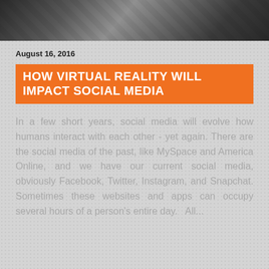[Figure (photo): Grayscale photo of mobile devices/smartphones at the top of the page]
August 16, 2016
HOW VIRTUAL REALITY WILL IMPACT SOCIAL MEDIA
In a few short years, social media will evolve how humans interact with each other - yet again. There are the social media of the past, like MySpace and America Online, and we have our current social media, obviously Facebook, Twitter, Instagram, and Snapchat. Sometimes these websites and apps can occupy several hours of a person's entire day.   All...